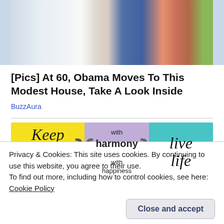[Figure (photo): Cropped photo of two people, one in blue shirt and one in blue outfit, outdoor background]
[Pics] At 60, Obama Moves To This Modest House, Take A Look Inside
BuzzAura
[Figure (illustration): Three-panel banner: yellow panel with script 'Keep in touch', lavender panel with 'with harmony / with happiness', cyan panel with script 'live life']
Privacy & Cookies: This site uses cookies. By continuing to use this website, you agree to their use.
To find out more, including how to control cookies, see here: Cookie Policy
Close and accept